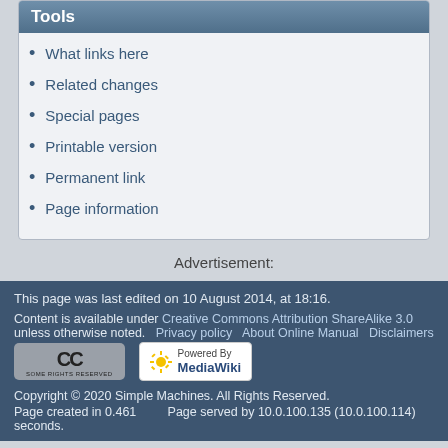Tools
What links here
Related changes
Special pages
Printable version
Permanent link
Page information
Advertisement:
This page was last edited on 10 August 2014, at 18:16.
Content is available under Creative Commons Attribution ShareAlike 3.0 unless otherwise noted.
Privacy policy   About Online Manual   Disclaimers
Copyright © 2020 Simple Machines. All Rights Reserved.
Page created in 0.461 seconds.   Page served by 10.0.100.135 (10.0.100.114)